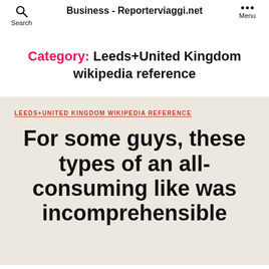Business - Reporterviaggi.net
Category: Leeds+United Kingdom wikipedia reference
LEEDS+UNITED KINGDOM WIKIPEDIA REFERENCE
For some guys, these types of an all-consuming like was incomprehensible